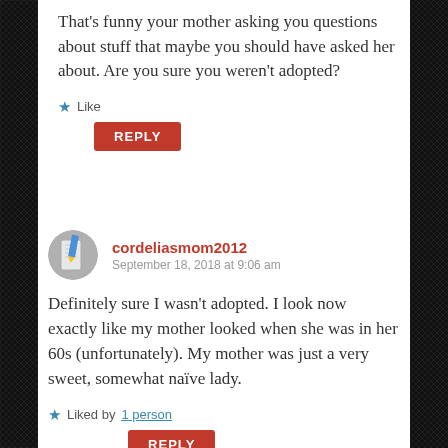That's funny your mother asking you questions about stuff that maybe you should have asked her about. Are you sure you weren't adopted?
Like
REPLY
cordeliasmom2012
September 18, 2018 at 9:06 am
Definitely sure I wasn't adopted. I look now exactly like my mother looked when she was in her 60s (unfortunately). My mother was just a very sweet, somewhat naïve lady.
Liked by 1 person
REPLY